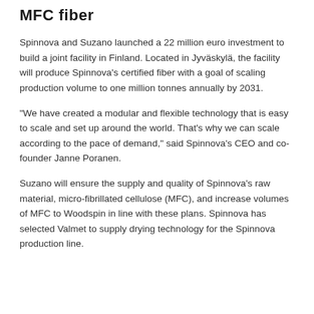MFC fiber
Spinnova and Suzano launched a 22 million euro investment to build a joint facility in Finland. Located in Jyväskylä, the facility will produce Spinnova's certified fiber with a goal of scaling production volume to one million tonnes annually by 2031.
“We have created a modular and flexible technology that is easy to scale and set up around the world. That’s why we can scale according to the pace of demand,” said Spinnova’s CEO and co-founder Janne Poranen.
Suzano will ensure the supply and quality of Spinnova’s raw material, micro-fibrillated cellulose (MFC), and increase volumes of MFC to Woodspin in line with these plans. Spinnova has selected Valmet to supply drying technology for the Spinnova production line.